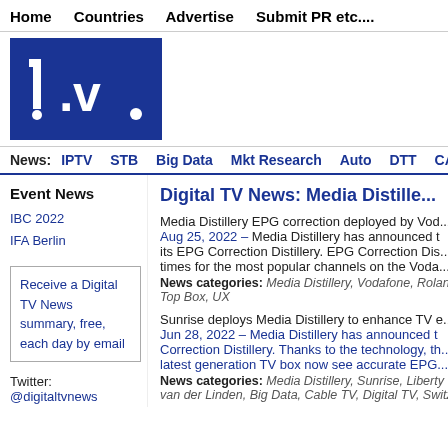Home   Countries   Advertise   Submit PR etc....
[Figure (logo): Digital TV News logo — blue square with white 't.v.' text]
News:  IPTV  STB  Big Data  Mkt Research  Auto  DTT  CATV  DTH  Se...
Event News
IBC 2022
IFA Berlin
Receive a Digital TV News summary, free, each day by email
Twitter: @digitaltvnews
Digital TV News: Media Distille...
Media Distillery EPG correction deployed by Vod...
Aug 25, 2022 – Media Distillery has announced that Vodafone has deployed its EPG Correction Distillery. EPG Correction Distillery corrects start times for the most popular channels on the Voda...
News categories: Media Distillery, Vodafone, Roland... Top Box, UX
Sunrise deploys Media Distillery to enhance TV e...
Jun 28, 2022 – Media Distillery has announced that Sunrise has deployed its EPG Correction Distillery. Thanks to the technology, the latest generation TV box now see accurate EPG...
News categories: Media Distillery, Sunrise, Liberty G... van der Linden, Big Data, Cable TV, Digital TV, Switza...
Media Distillery and Gracenote optimize EPG uti...
Nov 16, 2021 – Media Distillery and Gracenote...